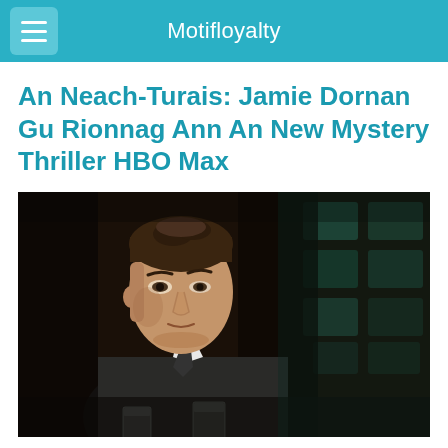Motifloyalty
An Neach-Turais: Jamie Dornan Gu Rionnag Ann An New Mystery Thriller HBO Max
[Figure (photo): A man in a dark suit and tie sitting at a table with glasses in the foreground, in a dimly lit setting with blurred green/teal lights in the background. The man appears to be Jamie Dornan.]